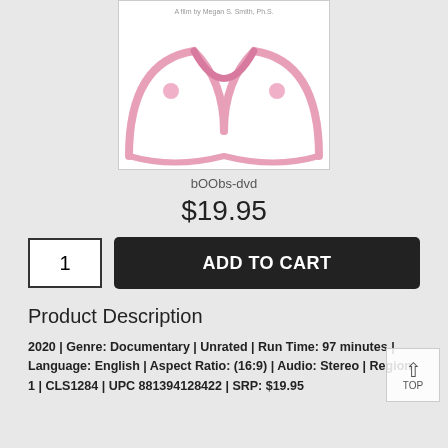[Figure (illustration): DVD product cover image showing pink breast illustration on white background, with text 'A film by Megan S. Smith, Ph.D.' at top]
bOObs-dvd
$19.95
1  ADD TO CART
Product Description
2020 | Genre: Documentary | Unrated | Run Time: 97 minutes | Language: English | Aspect Ratio: (16:9) | Audio: Stereo | Region 1 | CLS1284 | UPC 881394128422 | SRP: $19.95